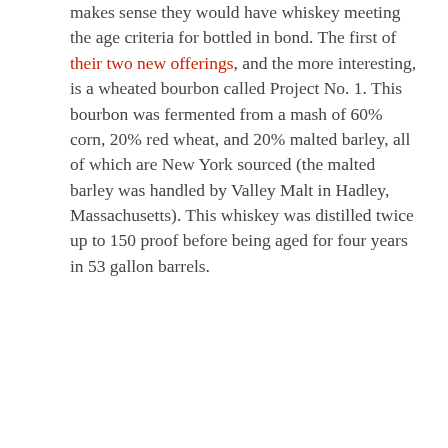makes sense they would have whiskey meeting the age criteria for bottled in bond. The first of their two new offerings, and the more interesting, is a wheated bourbon called Project No. 1. This bourbon was fermented from a mash of 60% corn, 20% red wheat, and 20% malted barley, all of which are New York sourced (the malted barley was handled by Valley Malt in Hadley, Massachusetts). This whiskey was distilled twice up to 150 proof before being aged for four years in 53 gallon barrels.
[Figure (photo): A bottle of Project No. 1 First Release Straight Bourbon Whiskey with a dark amber liquid, featuring a navy blue and white geometric label with a Boston Terrier logo, alongside a glass of whiskey with ice.]